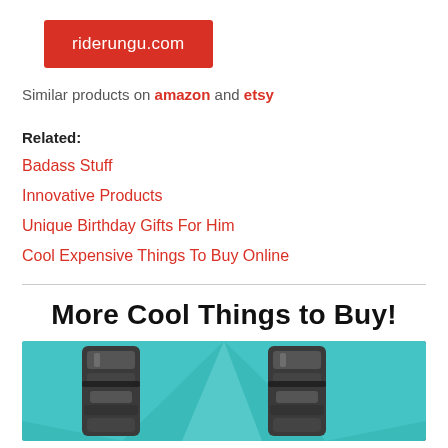[Figure (logo): Red button/badge with text 'riderungu.com' in white]
Similar products on amazon and etsy
Related:
Badass Stuff
Innovative Products
Unique Birthday Gifts For Him
Cool Expensive Things To Buy Online
More Cool Things to Buy!
[Figure (photo): Photo of robot/armor legs on a teal/cyan geometric background]